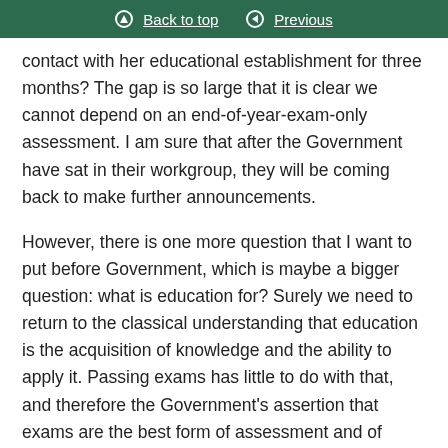Back to top | Previous
contact with her educational establishment for three months? The gap is so large that it is clear we cannot depend on an end-of-year-exam-only assessment. I am sure that after the Government have sat in their workgroup, they will be coming back to make further announcements.
However, there is one more question that I want to put before Government, which is maybe a bigger question: what is education for? Surely we need to return to the classical understanding that education is the acquisition of knowledge and the ability to apply it. Passing exams has little to do with that, and therefore the Government’s assertion that exams are the best form of assessment and of advancing pupils’ education is not proven by the